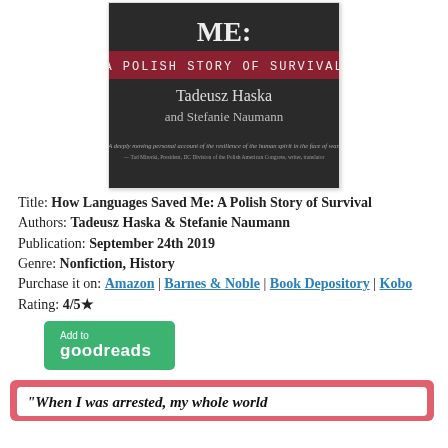[Figure (photo): Book cover of 'How Languages Saved Me: A Polish Story of Survival' by Tadeusz Haska and Stefanie Naumann. Dark background with subtitle in red banner and authors' names in serif font. A quote at the bottom of the cover.]
Title: How Languages Saved Me: A Polish Story of Survival
Authors: Tadeusz Haska & Stefanie Naumann
Publication: September 24th 2019
Genre: Nonfiction, History
Purchase it on: Amazon | Barnes & Noble | Book Depository | Kobo
Rating: 4/5★
[Figure (logo): Green 'Add to goodreads' button]
"When I was arrested, my whole world